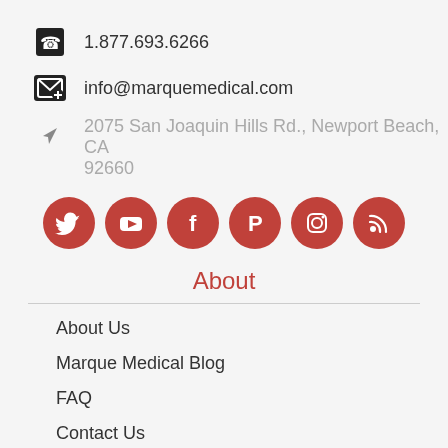1.877.693.6266
info@marquemedical.com
2075 San Joaquin Hills Rd., Newport Beach, CA 92660
[Figure (infographic): Row of 6 red social media icon circles: Twitter, YouTube, Facebook, Pinterest, Instagram, RSS]
About
About Us
Marque Medical Blog
FAQ
Contact Us